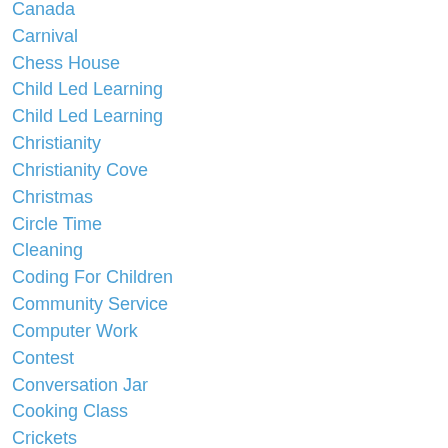Canada
Carnival
Chess House
Child Led Learning
Child Led Learning
Christianity
Christianity Cove
Christmas
Circle Time
Cleaning
Coding For Children
Community Service
Computer Work
Contest
Conversation Jar
Cooking Class
Crickets
Critical Thinking
Curriculum
Day In The Life
Days Of November